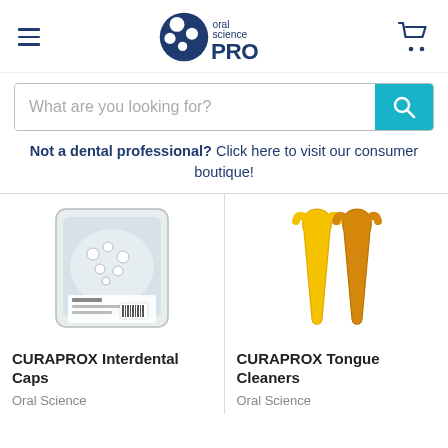oral science PRO — navigation header with logo and cart
What are you looking for?
Not a dental professional? Click here to visit our consumer boutique!
[Figure (photo): CURAPROX Interdental Caps product — bag of small white plastic dental caps]
[Figure (photo): CURAPROX Tongue Cleaners product — yellow and orange plastic tongue cleaning tools]
CURAPROX Interdental Caps
Oral Science
CURAPROX Tongue Cleaners
Oral Science